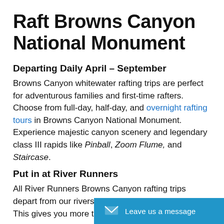Raft Browns Canyon National Monument
Departing Daily April – September
Browns Canyon whitewater rafting trips are perfect for adventurous families and first-time rafters. Choose from full-day, half-day, and overnight rafting tours in Browns Canyon National Monument. Experience majestic canyon scenery and legendary class III rapids like Pinball, Zoom Flume, and Staircase.
Put in at River Runners
All River Runners Browns Canyon rafting trips depart from our riverside property (at normal flows). This gives you more time to enjoy your vacation.